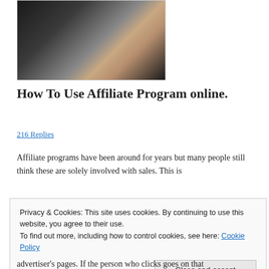[Figure (photo): Partial view of a person in a dark suit, showing hand and torso area against white background]
How To Use Affiliate Program online.
216 Replies
Affiliate programs have been around for years but many people still think these are solely involved with sales. This is
Privacy & Cookies: This site uses cookies. By continuing to use this website, you agree to their use.
To find out more, including how to control cookies, see here: Cookie Policy
Close and accept
advertiser's pages. If the person who clicks goes on that